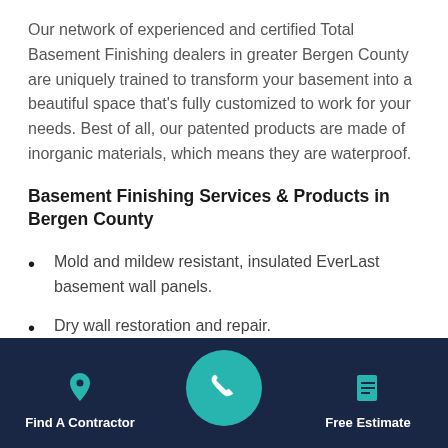Our network of experienced and certified Total Basement Finishing dealers in greater Bergen County are uniquely trained to transform your basement into a beautiful space that's fully customized to work for your needs. Best of all, our patented products are made of inorganic materials, which means they are waterproof.
Basement Finishing Services & Products in Bergen County
Mold and mildew resistant, insulated EverLast basement wall panels.
Dry wall restoration and repair.
Find A Contractor | [phone] | Free Estimate